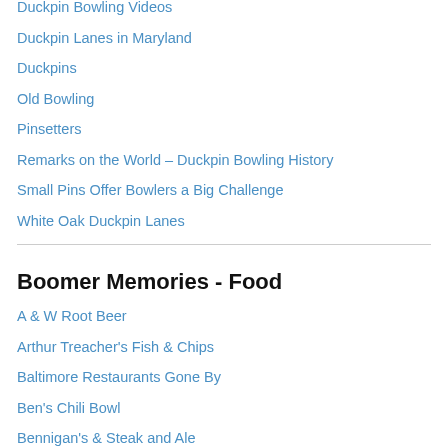Duckpin Bowling Videos
Duckpin Lanes in Maryland
Duckpins
Old Bowling
Pinsetters
Remarks on the World – Duckpin Bowling History
Small Pins Offer Bowlers a Big Challenge
White Oak Duckpin Lanes
Boomer Memories - Food
A & W Root Beer
Arthur Treacher's Fish & Chips
Baltimore Restaurants Gone By
Ben's Chili Bowl
Bennigan's & Steak and Ale
Burger Chef Memories
Burger Chef Page – JFS's
Burger Chef Reliquary
Burger King